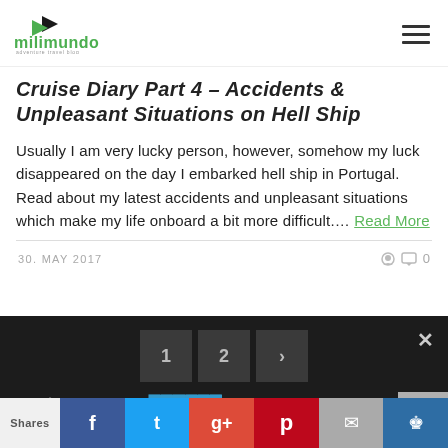[Figure (logo): milimundo adventure travel blog logo with arrow icon]
Cruise Diary Part 4 – Accidents & Unpleasant Situations on Hell Ship
Usually I am very lucky person, however, somehow my luck disappeared on the day I embarked hell ship in Portugal. Read about my latest accidents and unpleasant situations which make my life onboard a bit more difficult.... Read More
30. MAY 2017
0
[Figure (screenshot): Dark overlay with navigation buttons and Privacy Preferences bar]
Don´t forget to fol... Mundo :)
Shares